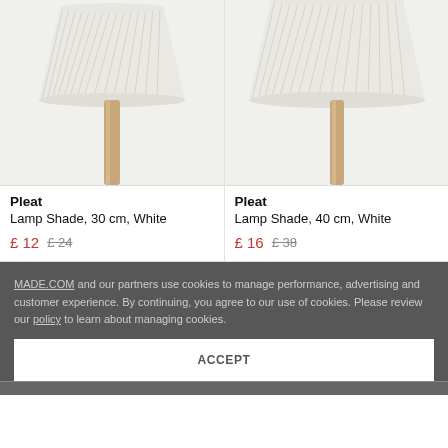[Figure (photo): Pleat lamp shade 30cm white with wooden base on light grey background]
[Figure (photo): Pleat lamp shade 40cm white with wooden base on light grey background]
Pleat
Lamp Shade, 30 cm, White
£ 12  £ 24
Pleat
Lamp Shade, 40 cm, White
£ 16  £ 38
MADE.COM and our partners use cookies to manage performance, advertising and customer experience. By continuing, you agree to our use of cookies. Please review our policy to learn about managing cookies.
Join our newsletter for £10 off
ACCEPT